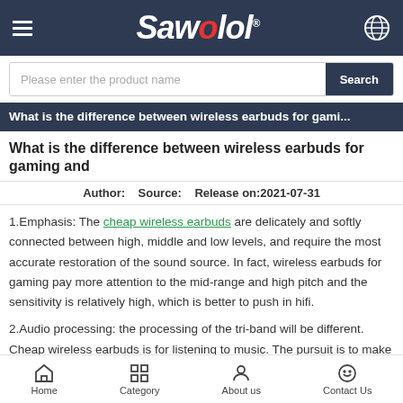Sawolol
Please enter the product name  Search
What is the difference between wireless earbuds for gami...
What is the difference between wireless earbuds for gaming and
Author:   Source:   Release on:2021-07-31
1.Emphasis: The cheap wireless earbuds are delicately and softly connected between high, middle and low levels, and require the most accurate restoration of the sound source. In fact, wireless earbuds for gaming pay more attention to the mid-range and high pitch and the sensitivity is relatively high, which is better to push in hifi.
2.Audio processing: the processing of the tri-band will be different. Cheap wireless earbuds is for listening to music. The pursuit is to make the tri-band as straight as possible (high reduction), or to enhance the low-frequency and high-frequency
Home   Category   About us   Contact Us